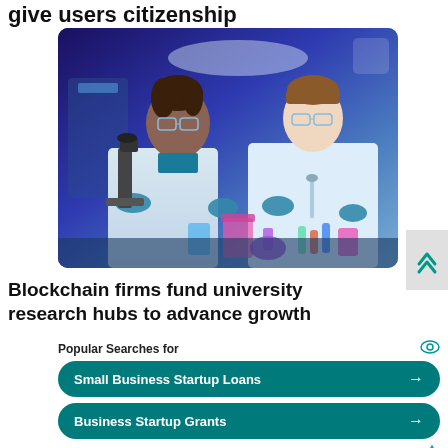give users citizenship
[Figure (illustration): Illustrated image of two scientists in lab coats and blue gloves working in a laboratory. A Black woman with glasses looks at a microscope while a white man with glasses pipettes a sample. Various colorful lab equipment including beakers and test tubes are visible.]
Blockchain firms fund university research hubs to advance growth
Popular Searches for
Small Business Startup Loans →
Business Startup Grants →
Yahoo! Search | Sponsored